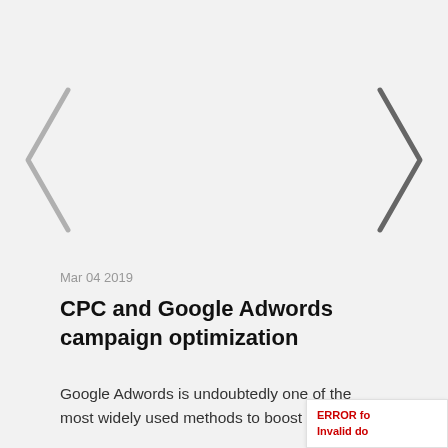[Figure (other): Left navigation arrow chevron in light gray]
[Figure (other): Right navigation arrow chevron in dark gray]
Mar 04 2019
CPC and Google Adwords campaign optimization
Google Adwords is undoubtedly one of the most widely used methods to boost Internet
ERROR fo
Invalid do